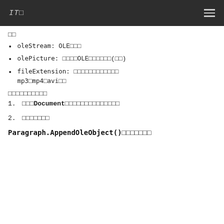IT□
□□
oleStream: OLE□□□
olePicture: □□□□OLE□□□□□□(□□)
fileExtension: □□□□□□□□□□□□ mp3□mp4□avi□□
□□□□□□□□□□
1. □□□Documentの□□□□□□□□□□□□□□
2. □□□□□□□
Paragraph.AppendOleObject()□□□□□□□